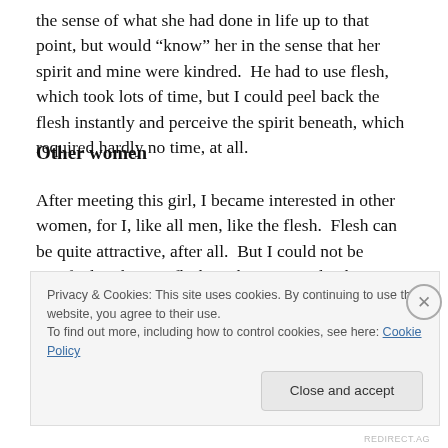the sense of what she had done in life up to that point, but would “know” her in the sense that her spirit and mine were kindred.  He had to use flesh, which took lots of time, but I could peel back the flesh instantly and perceive the spirit beneath, which required hardly no time, at all.
Other women
After meeting this girl, I became interested in other women, for I, like all men, like the flesh.  Flesh can be quite attractive, after all.  But I could not be satisfied with mere flesh.  What I wanted, what I needed and desired,
Privacy & Cookies: This site uses cookies. By continuing to use this website, you agree to their use.
To find out more, including how to control cookies, see here: Cookie Policy
Close and accept